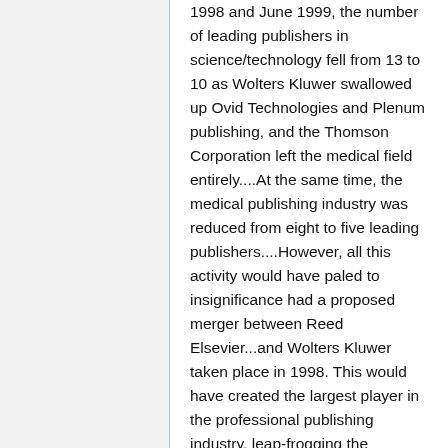1998 and June 1999, the number of leading publishers in science/technology fell from 13 to 10 as Wolters Kluwer swallowed up Ovid Technologies and Plenum publishing, and the Thomson Corporation left the medical field entirely....At the same time, the medical publishing industry was reduced from eight to five leading publishers....However, all this activity would have paled to insignificance had a proposed merger between Reed Elsevier...and Wolters Kluwer taken place in 1998. This would have created the largest player in the professional publishing industry, leap-frogging the Thomson Corporation (which...